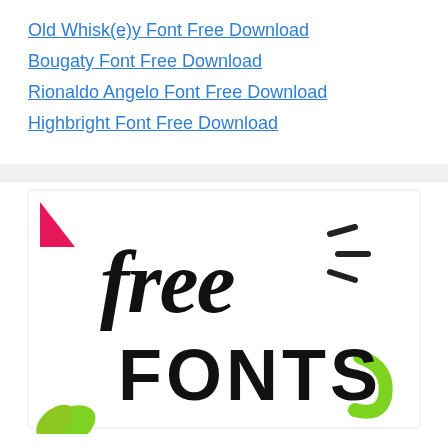Old Whisk(e)y Font Free Download
Bougaty Font Free Download
Rionaldo Angelo Font Free Download
Highbright Font Free Download
[Figure (illustration): Decorative 'free FONTS' lettering image with a pink triangle and green leaf shapes, hand-lettered style black text on white background]